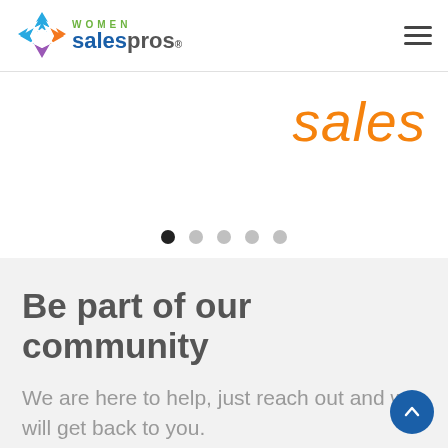Women Sales Pros - navigation header with logo and hamburger menu
[Figure (logo): Women Sales Pros logo with colorful diamond/star icon and text 'WOMEN salespros.']
[Figure (other): Carousel slide showing orange italic text 'sales' and pagination dots (5 dots, first active)]
Be part of our community
We are here to help, just reach out and we will get back to you.